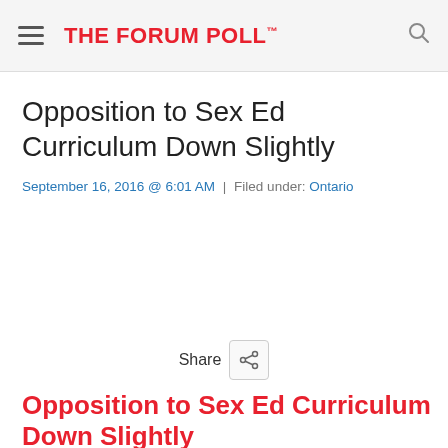THE FORUM POLL™
Opposition to Sex Ed Curriculum Down Slightly
September 16, 2016 @ 6:01 AM | Filed under: Ontario
Share
Opposition to Sex Ed Curriculum Down Slightly